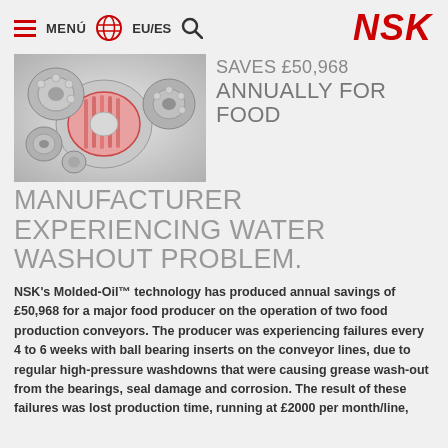MENÚ  EU/ES  NSK
[Figure (photo): Photo of various NSK bearings including ball bearings and a tapered roller bearing with pink/red accent color, arranged on a light gray background]
SAVES £50,968 ANNUALLY FOR FOOD MANUFACTURER EXPERIENCING WATER WASHOUT PROBLEM.
NSK's Molded-Oil™ technology has produced annual savings of £50,968 for a major food producer on the operation of two food production conveyors. The producer was experiencing failures every 4 to 6 weeks with ball bearing inserts on the conveyor lines, due to regular high-pressure washdowns that were causing grease wash-out from the bearings, seal damage and corrosion. The result of these failures was lost production time, running at £2000 per month/line,